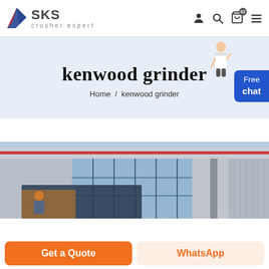[Figure (logo): SKS crusher expert logo with blue wing/arrow icon]
kenwood grinder
Home / kenwood grinder
[Figure (photo): Industrial factory building exterior with large windows and blue sky]
Get a Quote
WhatsApp